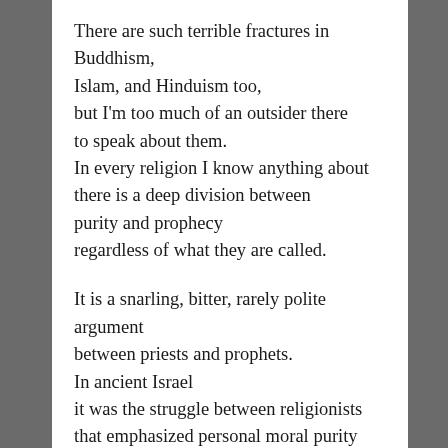There are such terrible fractures in Buddhism, Islam, and Hinduism too, but I'm too much of an outsider there to speak about them. In every religion I know anything about there is a deep division between purity and prophecy regardless of what they are called.

It is a snarling, bitter, rarely polite argument between priests and prophets. In ancient Israel it was the struggle between religionists that emphasized personal moral purity practiced through ritual, worship, and the rules of morality, verses those who were fierce champions